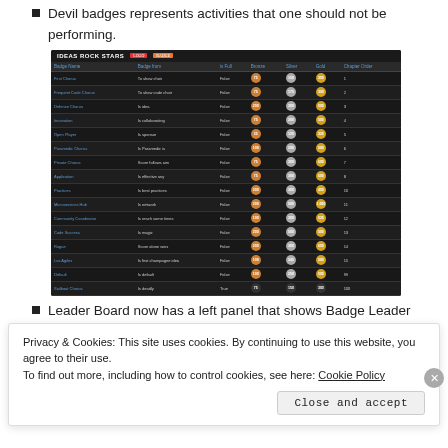Devil badges represents activities that one should not be performing.
[Figure (screenshot): Screenshot of IDEAS ROCK STARS badge management table showing badge names, badge from, is full, bronze, silver, gold, and chapter order columns with colored circular badge icons for multiple rows including First Chorus, Frequent Code Chorus, Defense Chorus, Innovation, Open Player, Paramedic Chorus, Private Chorus, Application, Practices, Microservices Hub, Community Coordinator, Code Success, Rogue, Los Agiles, Default, Sailboat Chorus]
Leader Board now has a left panel that shows Badge Leader board.
Privacy & Cookies: This site uses cookies. By continuing to use this website, you agree to their use.
To find out more, including how to control cookies, see here: Cookie Policy
Close and accept